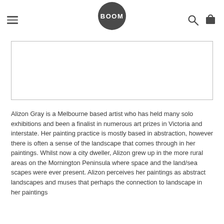BOOM logo with hamburger menu, search and cart icons
[Figure (photo): Empty white image placeholder box with light border]
Alizon Gray is a Melbourne based artist who has held many solo exhibitions and been a finalist in numerous art prizes in Victoria and interstate. Her painting practice is mostly based in abstraction, however there is often a sense of the landscape that comes through in her paintings. Whilst now a city dweller, Alizon grew up in the more rural areas on the Mornington Peninsula where space and the land/sea scapes were ever present. Alizon perceives her paintings as abstract landscapes and muses that perhaps the connection to landscape in her paintings